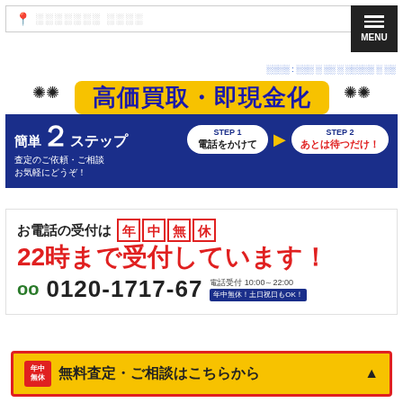📍 ░░░░░░░ ░░░░
░░░░ : ░░░ ░ ░░ ░ ░░░░░ ░ ░░
[Figure (infographic): 高価買取・即現金化 promotional banner with yellow title ribbon, blue step banner showing 簡単２ステップ with STEP1 電話をかけて and STEP2 あとは待つだけ！]
お電話の受付は 年中無休 22時まで受付しています！
0120-1717-67 電話受付 10:00～22:00 年中無休！土日祝日もOK！
年中無休 無料査定・ご相談はこちらから ▲